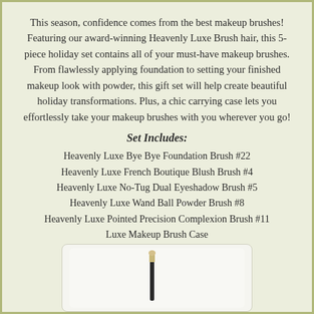This season, confidence comes from the best makeup brushes! Featuring our award-winning Heavenly Luxe Brush hair, this 5-piece holiday set contains all of your must-have makeup brushes. From flawlessly applying foundation to setting your finished makeup look with powder, this gift set will help create beautiful holiday transformations. Plus, a chic carrying case lets you effortlessly take your makeup brushes with you wherever you go!
Set Includes:
Heavenly Luxe Bye Bye Foundation Brush #22
Heavenly Luxe French Boutique Blush Brush #4
Heavenly Luxe No-Tug Dual Eyeshadow Brush #5
Heavenly Luxe Wand Ball Powder Brush #8
Heavenly Luxe Pointed Precision Complexion Brush #11
Luxe Makeup Brush Case
[Figure (photo): A single makeup brush displayed horizontally against a white/light background, showing a thin brush with a dark handle and a small tip.]